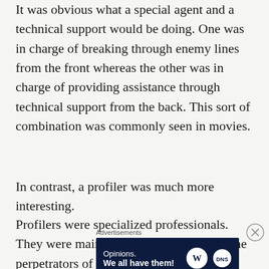It was obvious what a special agent and a technical support would be doing. One was in charge of breaking through enemy lines from the front whereas the other was in charge of providing assistance through technical support from the back. This sort of combination was commonly seen in movies.
In contrast, a profiler was much more interesting.
Profilers were specialized professionals. They were mainly in charge of profiling the perpetrators of crime scenes. Through the circumstances of the
Advertisements
[Figure (other): Advertisement banner with dark navy background. Text reads 'Opinions. We all have them!' with WordPress and DNS logos on the right.]